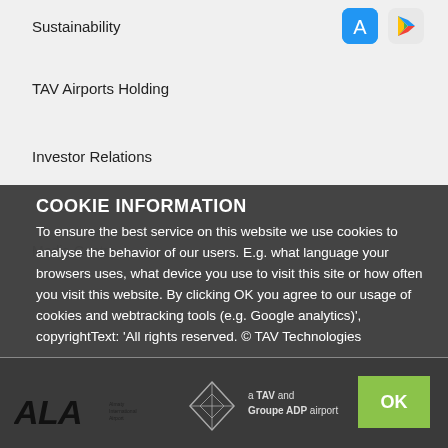Sustainability
TAV Airports Holding
Investor Relations
Media Centre
COOKIE INFORMATION
To ensure the best service on this website we use cookies to analyse the behavior of our users. E.g. what language your browsers uses, what device you use to visit this site or how often you visit this website. By clicking OK you agree to our usage of cookies and webtracking tools (e.g. Google analytics)', copyrightText: 'All rights reserved. © TAV Technologies
[Figure (logo): ALA Almaty International Airport logo with diamond shape icon]
a TAV and Groupe ADP airport
[Figure (other): OK button (green)]